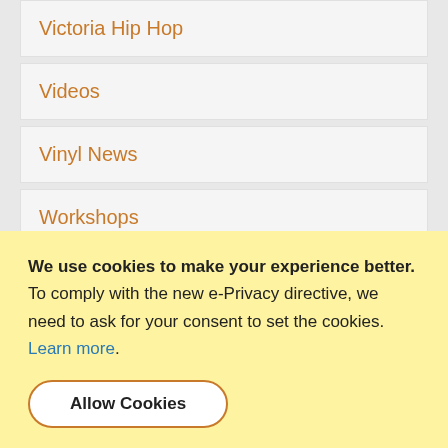Victoria Hip Hop
Videos
Vinyl News
Workshops
My Cart
We use cookies to make your experience better. To comply with the new e-Privacy directive, we need to ask for your consent to set the cookies. Learn more.
Allow Cookies